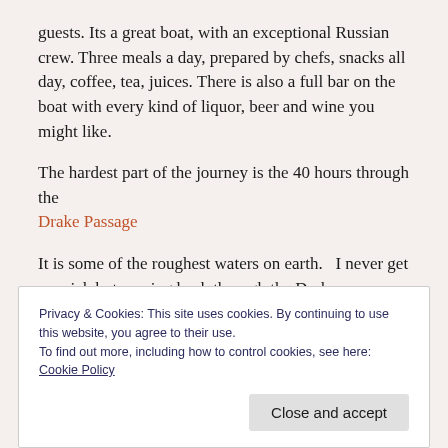guests. Its a great boat, with an exceptional Russian crew. Three meals a day, prepared by chefs, snacks all day, coffee, tea, juices. There is also a full bar on the boat with every kind of liquor, beer and wine you might like.
The hardest part of the journey is the 40 hours through the Drake Passage
It is some of the roughest waters on earth. I never get sea sick but coming back through the Drake on our journey home, even I was sick one afternoon.
Privacy & Cookies: This site uses cookies. By continuing to use this website, you agree to their use.
To find out more, including how to control cookies, see here: Cookie Policy